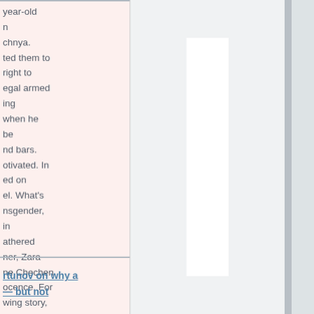year-old
n
chnya.
ted them to
right to
egal armed
ing
when he
be
nd bars.
otivated. In
ed on
el. What's
nsgender,
in
athered
ner, Zara
ne Chechen
ocence. For
wing story,
rtunov on why a
— but not